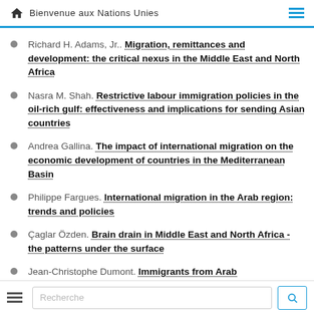Bienvenue aux Nations Unies
Richard H. Adams, Jr.. Migration, remittances and development: the critical nexus in the Middle East and North Africa
Nasra M. Shah. Restrictive labour immigration policies in the oil-rich gulf: effectiveness and implications for sending Asian countries
Andrea Gallina. The impact of international migration on the economic development of countries in the Mediterranean Basin
Philippe Fargues. International migration in the Arab region: trends and policies
Çaglar Özden. Brain drain in Middle East and North Africa - the patterns under the surface
Jean-Christophe Dumont. Immigrants from Arab ...
Recherche